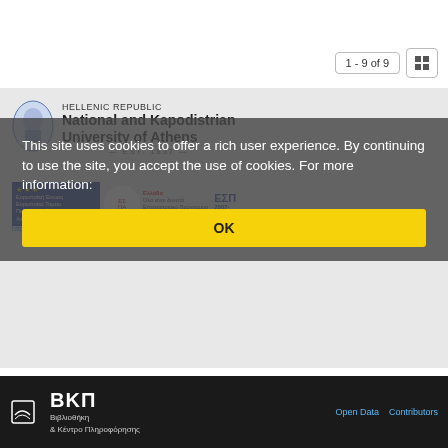1 - 9 of 9
[Figure (logo): National and Kapodistrian University of Athens logo with Hellenic Republic header and EST. 1837]
[Figure (logo): EU funding logos and Greek program branding]
Με τη συγχρηματοδότηση της Ελλάδας και της Ευρωπαϊκής Ένω... https://www.uoa.gr/to_panepistimio/prostasia/
This site uses cookies to offer a rich user experience. By continuing to use the site, you accept the use of cookies. For more information:
OK
[Figure (logo): BKP - Βιβλιοθήκη & Κέντρο Πληροφόρησης logo]
Open Data   Contributors